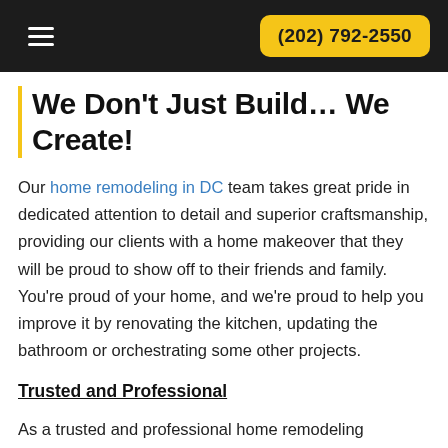(202) 792-2550
We Don't Just Build… We Create!
Our home remodeling in DC team takes great pride in dedicated attention to detail and superior craftsmanship, providing our clients with a home makeover that they will be proud to show off to their friends and family. You're proud of your home, and we're proud to help you improve it by renovating the kitchen, updating the bathroom or orchestrating some other projects.
Trusted and Professional
As a trusted and professional home remodeling contractor, we take the time to get to know every client and help them find ways to beautify their home and make it more functional. Home